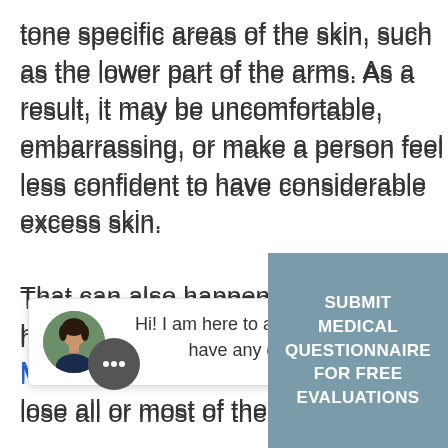tone specific areas of the skin, such as the lower part of the arms. As a result, it may be uncomfortable, embarrassing, or make a person feel less confident to have considerable excess skin.

That can also happen to those who have had weight loss surgery in Mexico since some managed to lose all or most of their excess [weight which] is impressive! [but the skin may have] lost elasticity and won't be able to return to its natur[al shape.] Even so, improving your body ima[ge is] possible!
[Figure (other): Chat popup overlay with a circular avatar photo of a dark-haired woman, with text 'Hi! I am here to assist you, do you have any questions?' and a close X button, plus a chat bubble icon.]
SUBMIT MEDICAL QUESTIONNAIRE FOR FREE EVALUATIONS